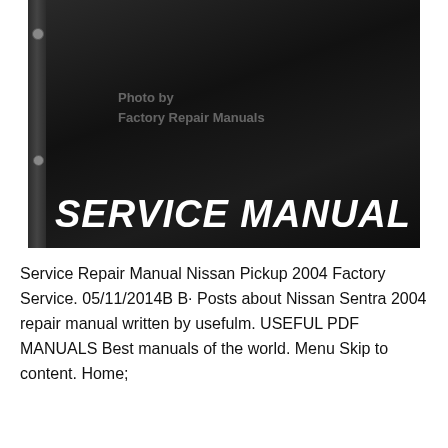[Figure (photo): Dark cover of a Service Manual binder with binder holes on the left spine. Text 'Photo by Factory Repair Manuals' appears in gray on the dark cover. Large white bold italic text reads 'SERVICE MANUAL' at the bottom of the cover.]
Service Repair Manual Nissan Pickup 2004 Factory Service. 05/11/2014B B· Posts about Nissan Sentra 2004 repair manual written by usefulm. USEFUL PDF MANUALS Best manuals of the world. Menu Skip to content. Home; About Nissan Sentra...